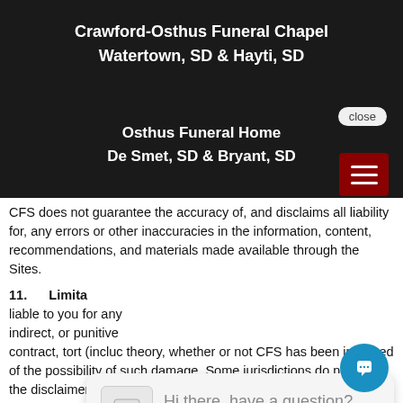[Figure (screenshot): Navigation overlay with funeral home names: Crawford-Osthus Funeral Chapel, Watertown SD & Hayti SD, Osthus Funeral Home, De Smet SD & Bryant SD, with hamburger menu button]
services, we cannot guarantee the continuous operation of or access to our Sites, and there may at times be inadvertent technical or factual errors or inaccuracies. CFS specifically (but without limitation) disclaims (i) any implied warranties of merchantability, fitness for a particular purpose, quiet enjoyment, or non-infringement; and (ii) any warranties arising out of course-of-dealing, usage, or trade. You assume all risk for all damages that may result from your use of or access to
CFS does not guarantee the accuracy of, and disclaims all liability for, any errors or other inaccuracies in the information, content, recommendations, and materials made available through the Sites.
11.      Limita
liable to you for any indirect, or punitive contract, tort (incluc theory, whether or not CFS has been informed of the possibility of such damage. Some jurisdictions do not allow the disclaimer of warranties or limitation of liability in certain circumstances. Accordingly, some of the above limitations may not apply to you.
[Figure (screenshot): Chat widget popup with icon and text: Hi there, have a question? Text us here. With close button and chat bubble button.]